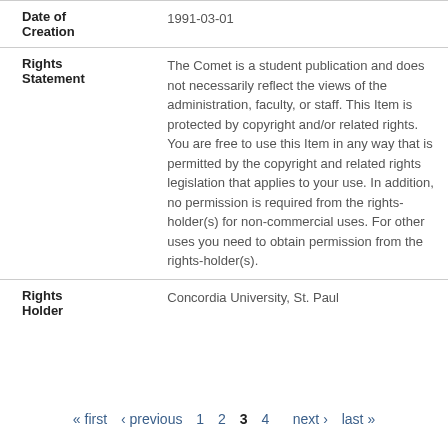| Field | Value |
| --- | --- |
| Date of Creation | 1991-03-01 |
| Rights Statement | The Comet is a student publication and does not necessarily reflect the views of the administration, faculty, or staff. This Item is protected by copyright and/or related rights. You are free to use this Item in any way that is permitted by the copyright and related rights legislation that applies to your use. In addition, no permission is required from the rights-holder(s) for non-commercial uses. For other uses you need to obtain permission from the rights-holder(s). |
| Rights Holder | Concordia University, St. Paul |
« first ‹ previous 1 2 3 4 next › last »